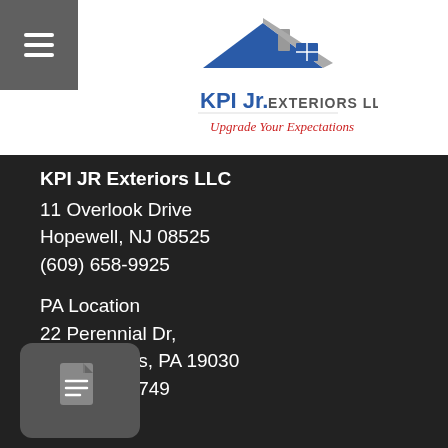[Figure (logo): KPI Jr. Exteriors LLC logo with house icon and tagline 'Upgrade Your Expectations']
KPI JR Exteriors LLC
11 Overlook Drive
Hopewell, NJ 08525
(609) 658-9925

PA Location
22 Perennial Dr,
Fairless Hills, PA 19030
(866) 493-3749
[Figure (illustration): Document/file icon button in dark gray rounded rectangle]